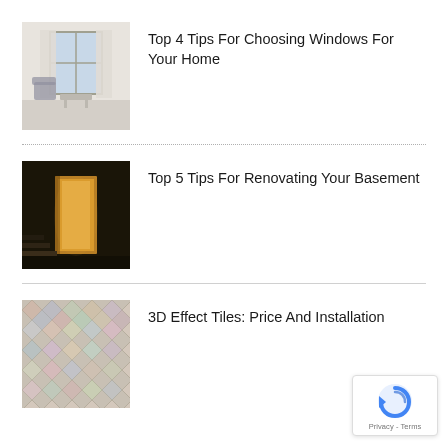Top 4 Tips For Choosing Windows For Your Home
Top 5 Tips For Renovating Your Basement
3D Effect Tiles: Price And Installation